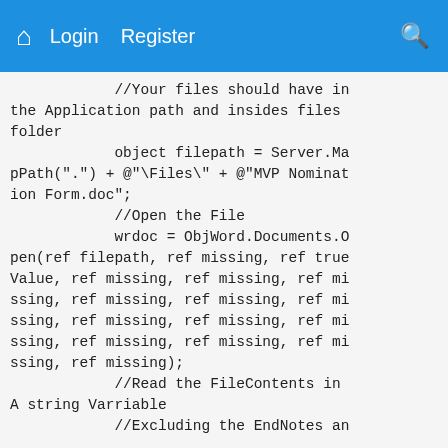Home  Login  Register  Search
//Your files should have in the Application path and insides files folder
            object filepath = Server.MapPath(".") + @"\Files\" + @"MVP Nomination Form.doc";
            //Open the File
            wrdoc = ObjWord.Documents.Open(ref filepath, ref missing, ref trueValue, ref missing, ref missing, ref missing, ref missing, ref missing, ref missing, ref missing, ref missing, ref missing, ref missing, ref missing, ref missing);
            //Read the FileContents in A string Varriable
            //Excluding the EndNotes an